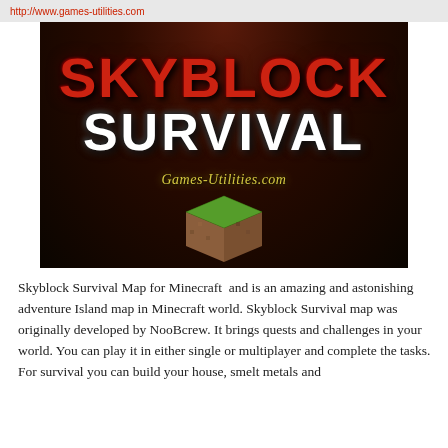http://www.games-utilities.com
[Figure (illustration): Skyblock Survival promotional image showing bold red 'SKYBLOCK' text and white 'SURVIVAL' text on a dark reddish-brown background, with a Minecraft grass block in the foreground and 'Games-Utilities.com' watermark]
Skyblock Survival Map for Minecraft  and is an amazing and astonishing adventure Island map in Minecraft world. Skyblock Survival map was originally developed by NooBcrew. It brings quests and challenges in your world. You can play it in either single or multiplayer and complete the tasks. For survival you can build your house, smelt metals and